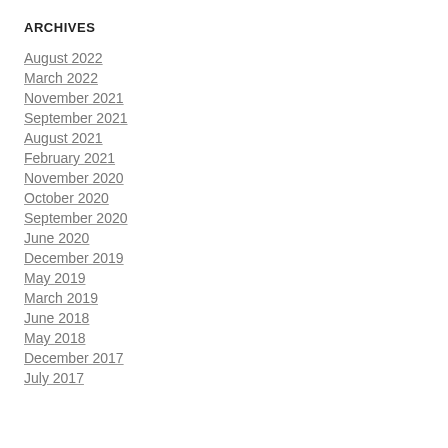ARCHIVES
August 2022
March 2022
November 2021
September 2021
August 2021
February 2021
November 2020
October 2020
September 2020
June 2020
December 2019
May 2019
March 2019
June 2018
May 2018
December 2017
July 2017